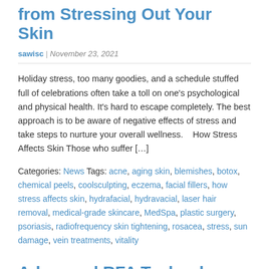from Stressing Out Your Skin
sawisc | November 23, 2021
Holiday stress, too many goodies, and a schedule stuffed full of celebrations often take a toll on one's psychological and physical health. It's hard to escape completely. The best approach is to be aware of negative effects of stress and take steps to nurture your overall wellness.    How Stress Affects Skin Those who suffer […]
Categories: News Tags: acne, aging skin, blemishes, botox, chemical peels, coolsculpting, eczema, facial fillers, how stress affects skin, hydrafacial, hydravacial, laser hair removal, medical-grade skincare, MedSpa, plastic surgery, psoriasis, radiofrequency skin tightening, rosacea, stress, sun damage, vein treatments, vitality
Advanced RFA Technology